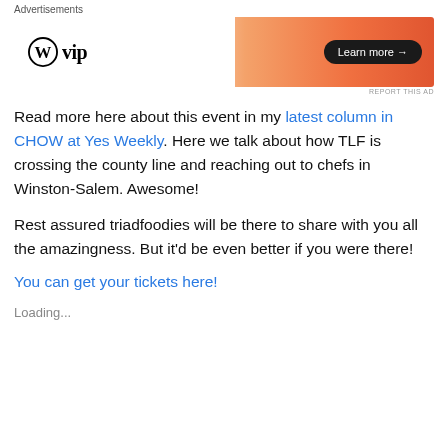[Figure (other): WordPress VIP advertisement banner with gradient orange background and Learn more button]
Read more here about this event in my latest column in CHOW at Yes Weekly. Here we talk about how TLF is crossing the county line and reaching out to chefs in Winston-Salem. Awesome!
Rest assured triadfoodies will be there to share with you all the amazingness. But it'd be even better if you were there!
You can get your tickets here!
Loading...